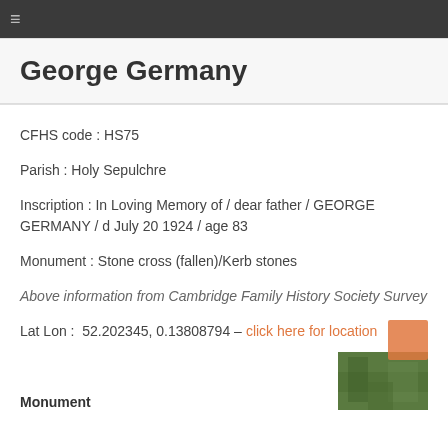≡
George Germany
CFHS code : HS75
Parish : Holy Sepulchre
Inscription : In Loving Memory of / dear father / GEORGE GERMANY / d July 20 1924 / age 83
Monument : Stone cross (fallen)/Kerb stones
Above information from Cambridge Family History Society Survey
Lat Lon :  52.202345, 0.13808794 – click here for location
Monument
[Figure (photo): Photograph of monument in green foliage setting]